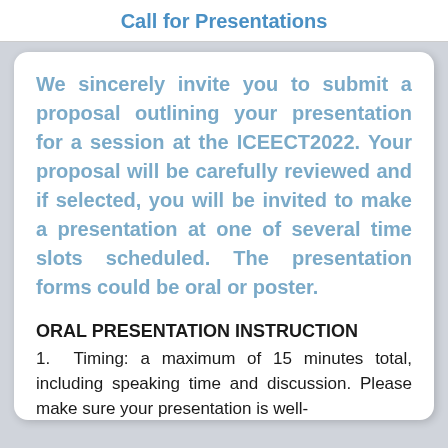Call for Presentations
We sincerely invite you to submit a proposal outlining your presentation for a session at the ICEECT2022. Your proposal will be carefully reviewed and if selected, you will be invited to make a presentation at one of several time slots scheduled. The presentation forms could be oral or poster.
ORAL PRESENTATION INSTRUCTION
1. Timing: a maximum of 15 minutes total, including speaking time and discussion. Please make sure your presentation is well-